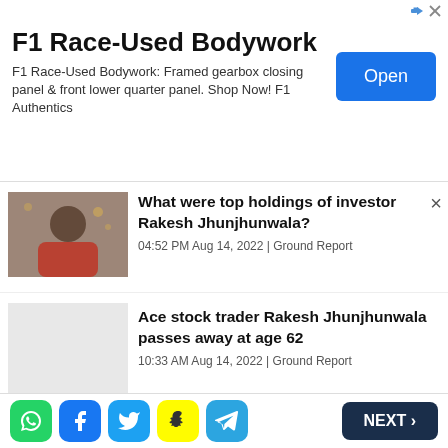[Figure (other): Advertisement banner for F1 Race-Used Bodywork with Open button]
What were top holdings of investor Rakesh Jhunjhunwala?
04:52 PM Aug 14, 2022 | Ground Report
Ace stock trader Rakesh Jhunjhunwala passes away at age 62
10:33 AM Aug 14, 2022 | Ground Report
Why is VLC Media Player banned in India?
05:52 PM Aug 15, 2022 | Ground Report
Who is the man smoking cigarette
[Figure (other): Bottom navigation bar with social share icons (WhatsApp, Facebook, Twitter, Snapchat, Telegram) and NEXT button]